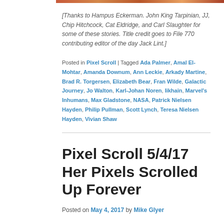[Figure (photo): Partial image strip at the top of the page]
[Thanks to Hampus Eckerman. John King Tarpinian, JJ, Chip Hitchcock, Cat Eldridge, and Carl Slaughter for some of these stories. Title credit goes to File 770 contributing editor of the day Jack Lint.]
Posted in Pixel Scroll | Tagged Ada Palmer, Amal El-Mohtar, Amanda Downum, Ann Leckie, Arkady Martine, Brad R. Torgersen, Elizabeth Bear, Fran Wilde, Galactic Journey, Jo Walton, Karl-Johan Noren, Iikhain, Marvel's Inhumans, Max Gladstone, NASA, Patrick Nielsen Hayden, Philip Pullman, Scott Lynch, Teresa Nielsen Hayden, Vivian Shaw
Pixel Scroll 5/4/17 Her Pixels Scrolled Up Forever
Posted on May 4, 2017 by Mike Glyer